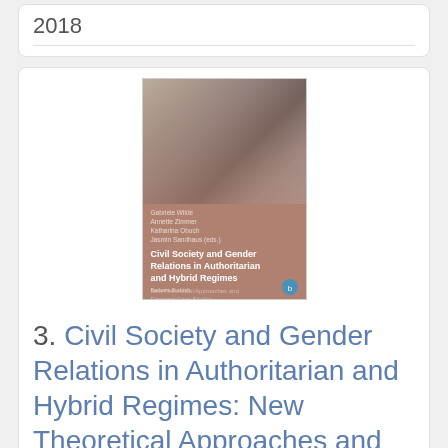2018
[Figure (photo): Book cover of 'Civil Society and Gender Relations in Authoritarian and Hybrid Regimes: New Theoretical Approaches and Empirical Case Studies' edited by Gabriele Wilde, Annette Zimmer, Katharina Obuch, Jasmin Sandhaus, published by Barbara Budrich]
3. Civil Society and Gender Relations in Authoritarian and Hybrid Regimes: New Theoretical Approaches and Empirical Case Studies
EDITOR